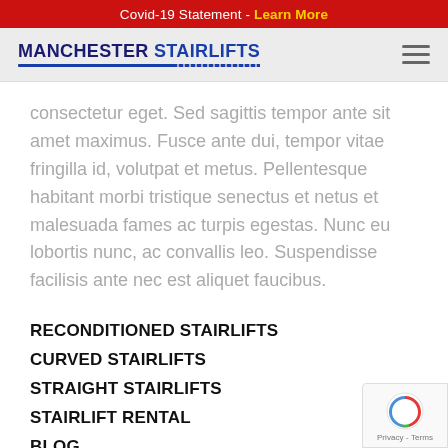Covid-19 Statement - Learn More
[Figure (logo): Manchester Stairlifts logo with hamburger menu icon on grey navigation bar]
consectetur eget. Sed sagittis tempor ante sit amet maximus. Fusce ante dui, tempor vitae fringilla id, volutpat et metus. Pellentesque habitant morbi tristique senectus et netus et malesuada fames ac turpis egestas. Nunc eu lobortis nunc, ac convallis leo. Suspendisse facilisis ante nec est aliquet faucibus.
RECONDITIONED STAIRLIFTS
CURVED STAIRLIFTS
STRAIGHT STAIRLIFTS
STAIRLIFT RENTAL
BLOG